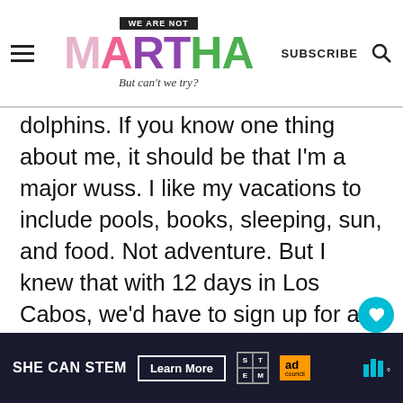WE ARE NOT MARTHA — But can't we try? | SUBSCRIBE
dolphins. If you know one thing about me, it should be that I'm a major wuss. I like my vacations to include pools, books, sleeping, sun, and food. Not adventure. But I knew that with 12 days in Los Cabos, we'd have to sign up for an activity or two, so when Chris mentioned swimming with dolphins, I agreed.
[Figure (screenshot): What's Next widget showing a circular thumbnail photo and text 'WHAT'S NEXT → Wedding Wind-Down']
SHE CAN STEM — Learn More — Ad Council